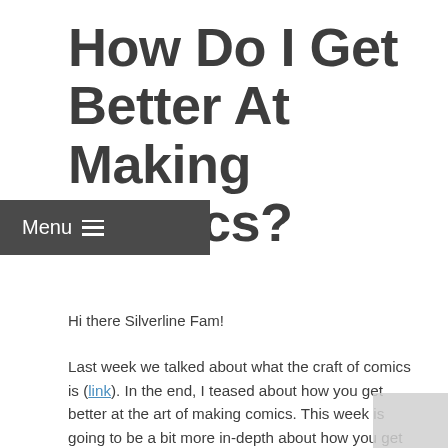How Do I Get Better At Making Comics?
Hi there Silverline Fam!
Last week we talked about what the craft of comics is (link). In the end, I teased about how you get better at the art of making comics. This week is going to be a bit more in-depth about how you get better at making comics. I'll try to make this comprehensive but without going overboard. Don't want to be dozing off or crossing your eyes halfway through. We'll go over both free and paid routes to improve your craft.